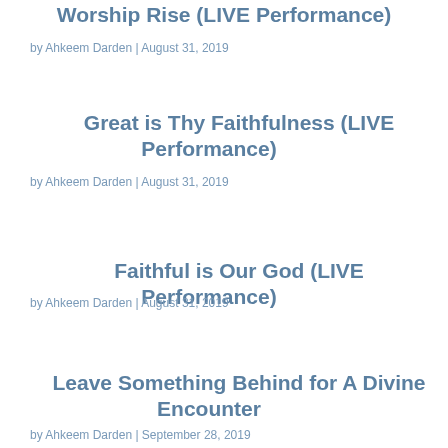Worship Rise (LIVE Performance)
by Ahkeem Darden | August 31, 2019
Great is Thy Faithfulness (LIVE Performance)
by Ahkeem Darden | August 31, 2019
Faithful is Our God (LIVE Performance)
by Ahkeem Darden | August 31, 2019
Leave Something Behind for A Divine Encounter
by Ahkeem Darden | September 28, 2019